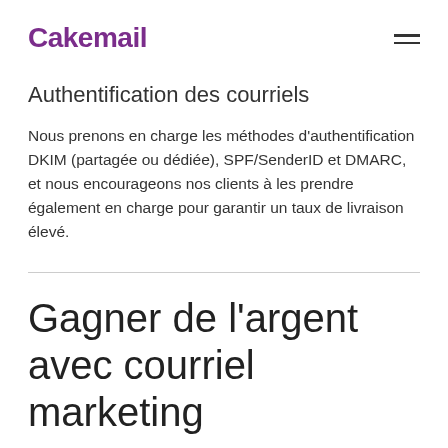Cakemail
Authentification des courriels
Nous prenons en charge les méthodes d'authentification DKIM (partagée ou dédiée), SPF/SenderID et DMARC, et nous encourageons nos clients à les prendre également en charge pour garantir un taux de livraison élevé.
Gagner de l'argent avec courriel marketing